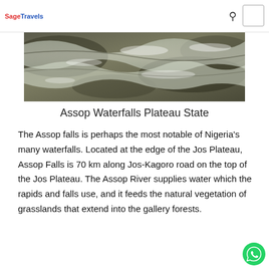SageTravels
[Figure (photo): Close-up photo of rushing water over rocks at Assop Waterfalls, showing water flow and wet rocks with natural textures.]
Assop Waterfalls Plateau State
The Assop falls is perhaps the most notable of Nigeria's many waterfalls. Located at the edge of the Jos Plateau, Assop Falls is 70 km along Jos-Kagoro road on the top of the Jos Plateau. The Assop River supplies water which the rapids and falls use, and it feeds the natural vegetation of grasslands that extend into the gallery forests.